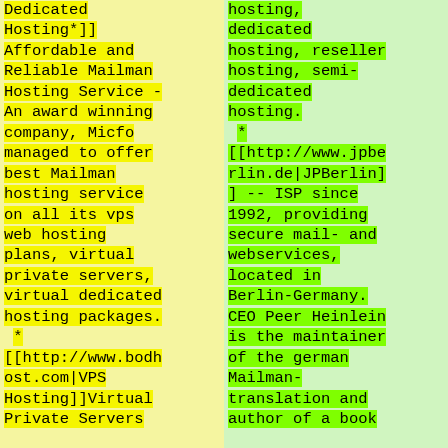Dedicated Hosting*]] Affordable and Reliable Mailman Hosting Service - An award winning company, Micfo managed to offer best Mailman hosting service on all its vps web hosting plans, virtual private servers, virtual dedicated hosting packages.
 *
[[http://www.bodhost.com|VPS Hosting]]Virtual Private Servers
hosting, dedicated hosting, reseller hosting, semi-dedicated hosting.
 *
[[http://www.jpberlin.de|JPBerlin]] -- ISP since 1992, providing secure mail- and webservices, located in Berlin-Germany. CEO Peer Heinlein is the maintainer of the german Mailman-translation and author of a book